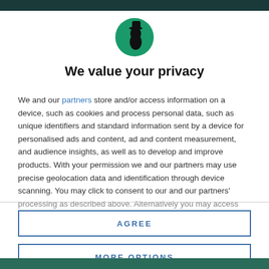[Figure (logo): Circular green logo with a black silhouette of a figure wearing a hat, facing right]
We value your privacy
We and our partners store and/or access information on a device, such as cookies and process personal data, such as unique identifiers and standard information sent by a device for personalised ads and content, ad and content measurement, and audience insights, as well as to develop and improve products. With your permission we and our partners may use precise geolocation data and identification through device scanning. You may click to consent to our and our partners' processing as described above. Alternatively you may access more
AGREE
MORE OPTIONS